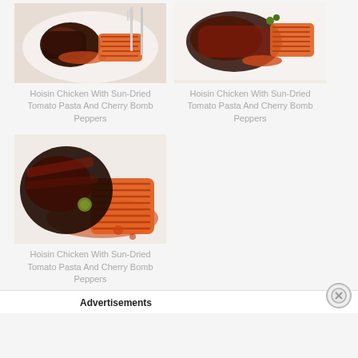[Figure (photo): Hoisin chicken with sun-dried tomato pasta and cherry bomb peppers on a white plate, with fork and knife beside it]
Hoisin Chicken With Sun-Dried Tomato Pasta And Cherry Bomb Peppers
[Figure (photo): Hoisin chicken with sun-dried tomato pasta and cherry bomb peppers on a white plate, close-up view]
Hoisin Chicken With Sun-Dried Tomato Pasta And Cherry Bomb Peppers
[Figure (photo): Hoisin chicken with sun-dried tomato pasta and cherry bomb peppers, large close-up view showing pasta and sauce]
Hoisin Chicken With Sun-Dried Tomato Pasta And Cherry Bomb Peppers
Advertisements